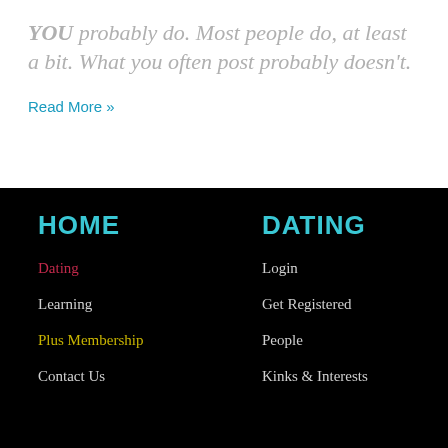YOU probably do. Most people do, at least a bit. What you often post probably doesn't.
Read More »
HOME
DATING
Dating
Login
Learning
Get Registered
Plus Membership
People
Contact Us
Kinks & Interests